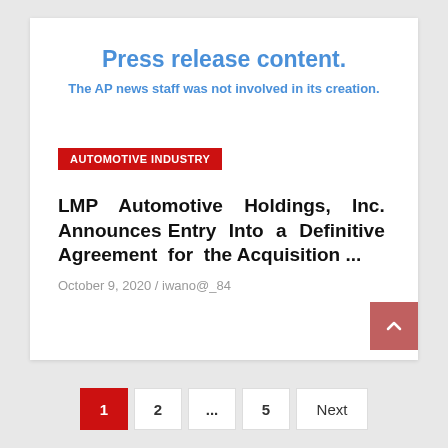Press release content.
The AP news staff was not involved in its creation.
AUTOMOTIVE INDUSTRY
LMP Automotive Holdings, Inc. Announces Entry Into a Definitive Agreement for the Acquisition ...
October 9, 2020 / iwano@_84